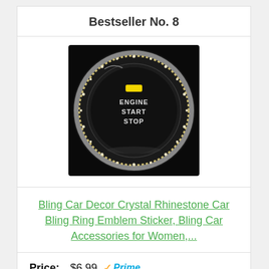Bestseller No. 8
[Figure (photo): Car Engine Start Stop button with crystal rhinestone bling ring decoration on dark background]
Bling Car Decor Crystal Rhinestone Car Bling Ring Emblem Sticker, Bling Car Accessories for Women,...
Price: $6.99 Prime
Buy On Amazon